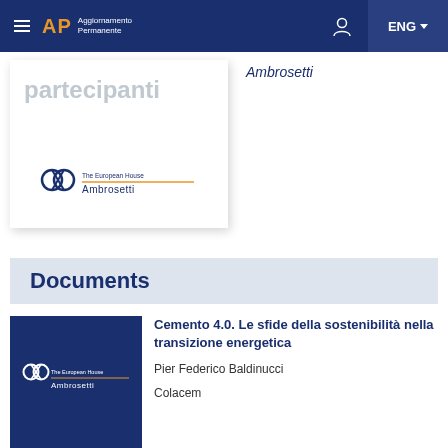AP Aggiornamento Permanente | ENG
Ambrosetti
partecipanti
[Figure (logo): The European House Ambrosetti logo (dark version on white card)]
Documents
[Figure (logo): The European House Ambrosetti logo (white version on dark blue background)]
Cemento 4.0. Le sfide della sostenibilità nella transizione energetica
Pier Federico Baldinucci
Colacem